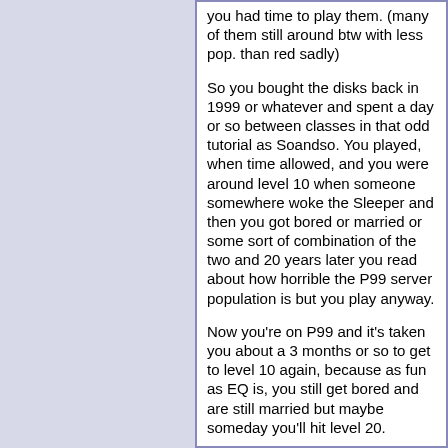you had time to play them. (many of them still around btw with less pop. than red sadly)
So you bought the disks back in 1999 or whatever and spent a day or so between classes in that odd tutorial as Soandso. You played, when time allowed, and you were around level 10 when someone somewhere woke the Sleeper and then you got bored or married or some sort of combination of the two and 20 years later you read about how horrible the P99 server population is but you play anyway.
Now you're on P99 and it's taken you about a 3 months or so to get to level 10 again, because as fun as EQ is, you still get bored and are still married but maybe someday you'll hit level 20.
That's the sort of folks who might play a server that doesn't fast forward every two days. I